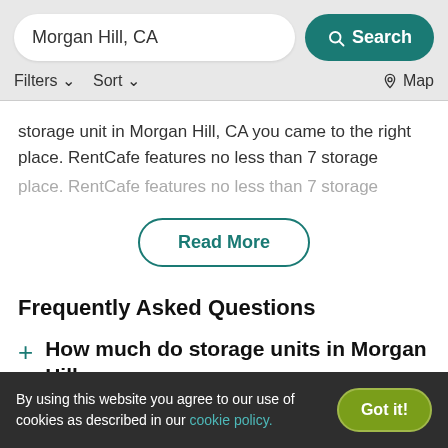Morgan Hill, CA | Search | Filters | Sort | Map
storage unit in Morgan Hill, CA you came to the right place. RentCafe features no less than 7 storage
Read More
Frequently Asked Questions
How much do storage units in Morgan Hill, CA cost?
By using this website you agree to our use of cookies as described in our cookie policy. Got it!